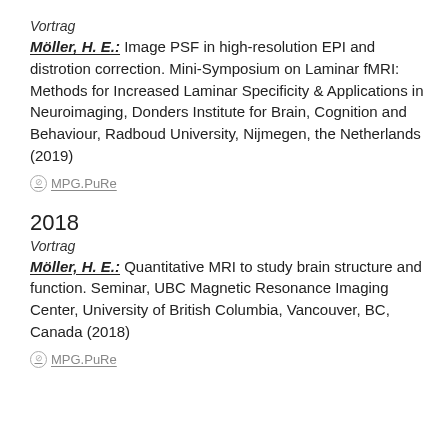Vortrag
Möller, H. E.: Image PSF in high-resolution EPI and distrotion correction. Mini-Symposium on Laminar fMRI: Methods for Increased Laminar Specificity & Applications in Neuroimaging, Donders Institute for Brain, Cognition and Behaviour, Radboud University, Nijmegen, the Netherlands (2019)
⊘ MPG.PuRe
2018
Vortrag
Möller, H. E.: Quantitative MRI to study brain structure and function. Seminar, UBC Magnetic Resonance Imaging Center, University of British Columbia, Vancouver, BC, Canada (2018)
⊘ MPG.PuRe